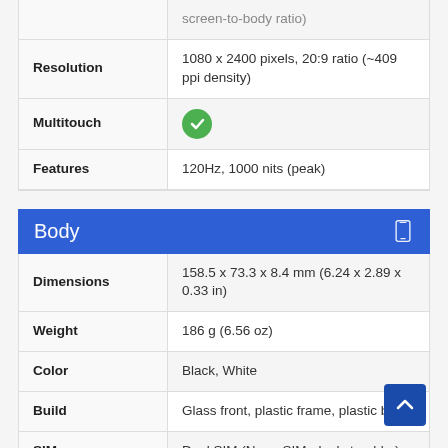|  |  |
| --- | --- |
|  | screen-to-body ratio) |
| Resolution | 1080 x 2400 pixels, 20:9 ratio (~409 ppi density) |
| Multitouch | ✓ |
| Features | 120Hz, 1000 nits (peak) |
Body
|  |  |
| --- | --- |
| Dimensions | 158.5 x 73.3 x 8.4 mm (6.24 x 2.89 x 0.33 in) |
| Weight | 186 g (6.56 oz) |
| Color | Black, White |
| Build | Glass front, plastic frame, plastic back |
| SIM | Dual SIM (Nano-SIM, dual stand-by) |